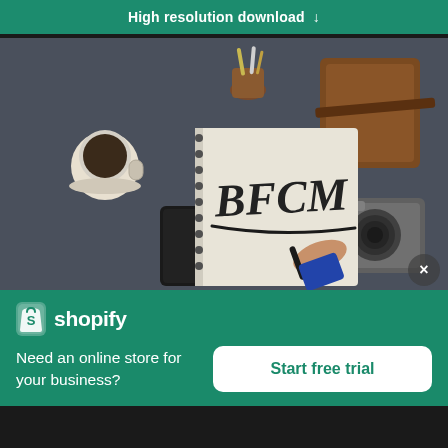High resolution download ↓
[Figure (photo): Flatlay photo on dark grey background showing a notebook with 'BFCM' written on it being underlined by a hand holding a marker pen, surrounded by a coffee cup, a leather-wrapped journal, a smartphone, a camera, and a small vase with pencils.]
[Figure (logo): Shopify logo — white shopping bag icon with an 'S' on it, followed by the word 'shopify' in white text.]
Need an online store for your business?
Start free trial